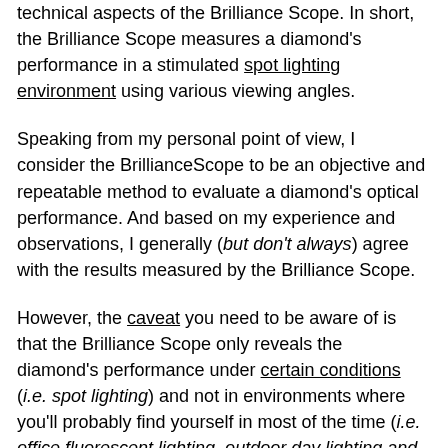technical aspects of the Brilliance Scope. In short, the Brilliance Scope measures a diamond's performance in a stimulated spot lighting environment using various viewing angles.
Speaking from my personal point of view, I consider the BrillianceScope to be an objective and repeatable method to evaluate a diamond's optical performance. And based on my experience and observations, I generally (but don't always) agree with the results measured by the Brilliance Scope.
However, the caveat you need to be aware of is that the Brilliance Scope only reveals the diamond's performance under certain conditions (i.e. spot lighting) and not in environments where you'll probably find yourself in most of the time (i.e. office fluorescent lighting, outdoor day lighting and